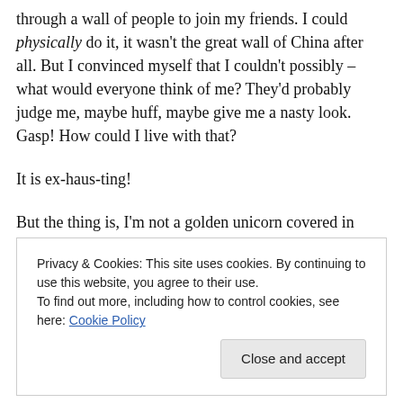through a wall of people to join my friends. I could physically do it, it wasn't the great wall of China after all. But I convinced myself that I couldn't possibly – what would everyone think of me? They'd probably judge me, maybe huff, maybe give me a nasty look. Gasp! How could I live with that?

It is ex-haus-ting!

But the thing is, I'm not a golden unicorn covered in glitter blowing rainbows out of me arse. I don't have 5 pairs of arms and 3 brains and a telenortation machine. I'm not a
Privacy & Cookies: This site uses cookies. By continuing to use this website, you agree to their use.
To find out more, including how to control cookies, see here: Cookie Policy
Close and accept